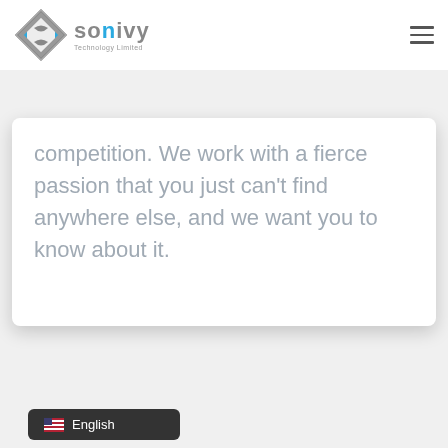[Figure (logo): Sonivy Technology Limited logo with diamond/S shape icon in grey and blue, and brand name text]
competition. We work with a fierce passion that you just can't find anywhere else, and we want you to know about it.
English